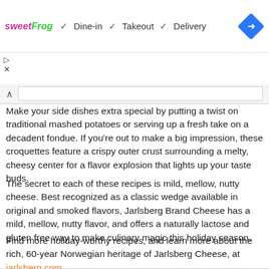[Figure (screenshot): SweetFrog ad banner showing Dine-in, Takeout, Delivery options with navigation diamond icon]
Make your side dishes extra special by putting a twist on traditional mashed potatoes or serving up a fresh take on a decadent fondue. If you're out to make a big impression, these croquettes feature a crispy outer crust surrounding a melty, cheesy center for a flavor explosion that lights up your taste buds.
The secret to each of these recipes is mild, mellow, nutty cheese. Best recognized as a classic wedge available in original and smoked flavors, Jarlsberg Brand Cheese has a mild, mellow, nutty flavor, and offers a naturally lactose and gluten free way to make culinary magic this holiday season.
Find more holiday-worthy recipes, and learn more about the rich, 60-year Norwegian heritage of Jarlsberg Cheese, at jarlsberg.com.
[Figure (photo): Bottom strip showing food photograph, partially visible]